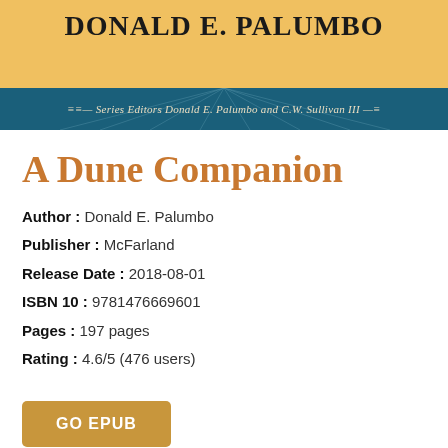[Figure (illustration): Book cover showing author name Donald E. Palumbo in large uppercase serif text on golden/yellow background, with a teal banner below reading 'Series Editors Donald E. Palumbo and C.W. Sullivan III' with decorative rays]
A Dune Companion
Author : Donald E. Palumbo
Publisher : McFarland
Release Date : 2018-08-01
ISBN 10 : 9781476669601
Pages : 197 pages
Rating : 4.6/5 (476 users)
[Figure (other): GO EPUB button — a rounded rectangle button in golden-brown color with white uppercase bold text 'GO EPUB']
Download or read book A Dune Companion PDF